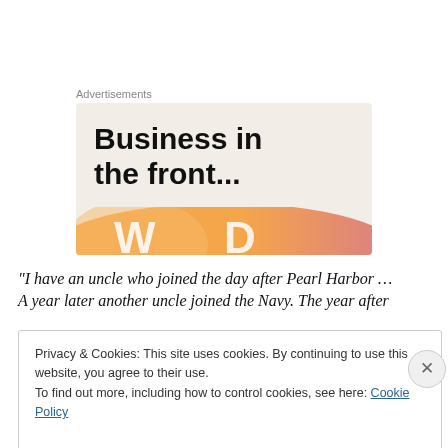Advertisements
[Figure (illustration): Advertisement banner with text 'Business in the front...' on a beige/tan background, with an orange-to-pink gradient decorative bar at the bottom with partial 'W' and 'D' letters visible.]
“I have an uncle who joined the day after Pearl Harbor … A year later another uncle joined the Navy. The year after
Privacy & Cookies: This site uses cookies. By continuing to use this website, you agree to their use.
To find out more, including how to control cookies, see here: Cookie Policy
Close and accept